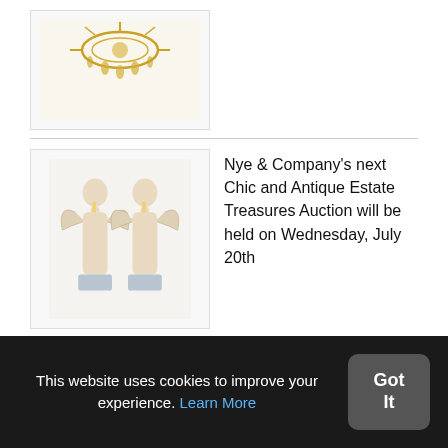[Figure (photo): Partial view of a gold ornamental chandelier or decorative piece, cropped at top of page]
[Figure (photo): Two white ceramic or plaster angel figurines holding candle sconces, standing on small pedestals]
Nye & Company's next Chic and Antique Estate Treasures Auction will be held on Wednesday, July 20th
[Figure (photo): Colorful vintage advertising clock with a red and white circular face and yellow base]
Miller & Miller's online-only Petroliana, Railroadiana & Advertising auction, June 18, grosses $628,674 (Canadian)
This website uses cookies to improve your experience. Learn More
Got It